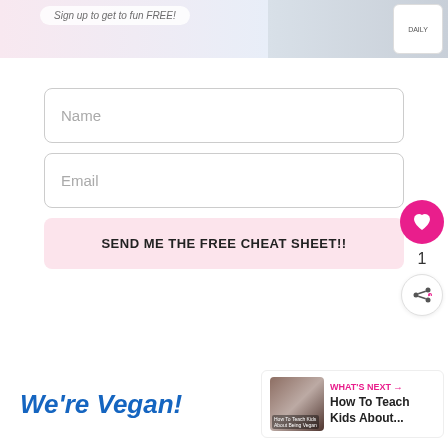[Figure (photo): Website banner showing a woman holding a product box, with a sign-up form prompt]
Name
Email
SEND ME THE FREE CHEAT SHEET!!
1
We're Vegan!
WHAT'S NEXT → How To Teach Kids About...